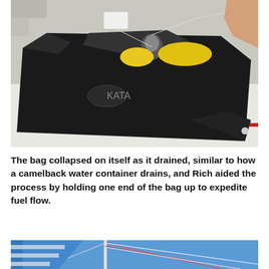[Figure (photo): A large black flexible fuel bag (with a logo reading 'KATA') collapsed partially on the deck of a boat. The bag has white tags and hoses/fittings at the top with yellow rags. A person's arm and hand are visible in the upper right. The deck is white with a red stripe visible.]
The bag collapsed on itself as it drained, similar to how a camelback water container drains, and Rich aided the process by holding one end of the bag up to expedite fuel flow.
[Figure (photo): Partial view of a sailboat mast and rigging against a blue sky, with a blue and white striped sail visible on the left and red and white lines from the rigging.]